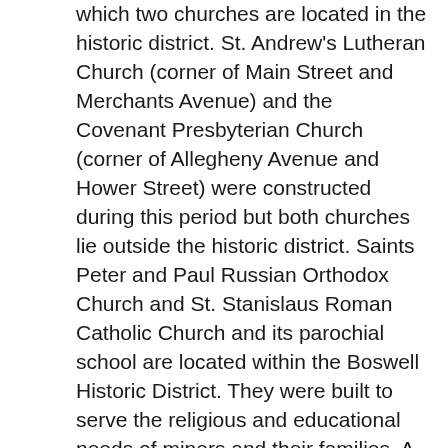which two churches are located in the historic district. St. Andrew's Lutheran Church (corner of Main Street and Merchants Avenue) and the Covenant Presbyterian Church (corner of Allegheny Avenue and Hower Street) were constructed during this period but both churches lie outside the historic district. Saints Peter and Paul Russian Orthodox Church and St. Stanislaus Roman Catholic Church and its parochial school are located within the Boswell Historic District. They were built to serve the religious and educational needs of miners and their families. A majority of Boswell miners were Italian, Pole, Russian or Slovak. St. Stanislaus Roman Catholic Church was organized by Father J. Sass of Windber, who served the parishioners of Boswell until 1905, at which time Father Anthony Baron assumed duties as the church's pastor. The original St. Stanislaus Church of Boswell was constructed on Juniata Street in 1902-1903 and served its congregation until the completion of the